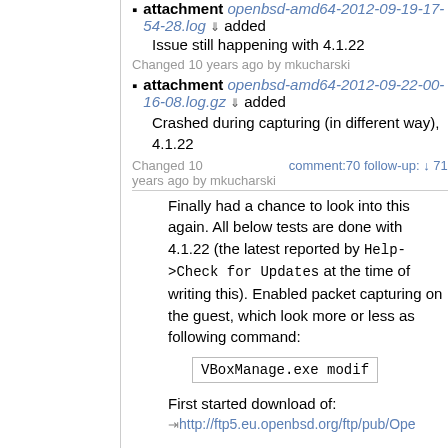attachment openbsd-amd64-2012-09-19-17-54-28.log added
Issue still happening with 4.1.22
Changed 10 years ago by mkucharski
attachment openbsd-amd64-2012-09-22-00-16-08.log.gz added
Crashed during capturing (in different way), 4.1.22
Changed 10 years ago by mkucharski  comment:70 follow-up: ↓ 71
Finally had a chance to look into this again. All below tests are done with 4.1.22 (the latest reported by Help->Check for Updates at the time of writing this). Enabled packet capturing on the guest, which look more or less as following command:
VBoxManage.exe modif
First started download of:
http://ftp5.eu.openbsd.org/ftp/pub/Ope